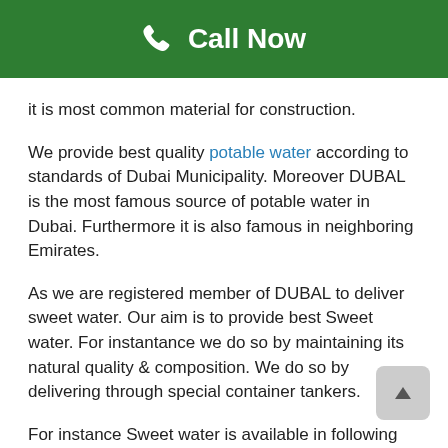Call Now
it is most common material for construction.
We provide best quality potable water according to standards of Dubai Municipality. Moreover DUBAL is the most famous source of potable water in Dubai. Furthermore it is also famous in neighboring Emirates.
As we are registered member of DUBAL to deliver sweet water. Our aim is to provide best Sweet water. For instantance we do so by maintaining its natural quality & composition. We do so by delivering through special container tankers.
For instance Sweet water is available in following capacities:
1000 Gallons. 1500 Gallons. 5000 Gallons. 10000